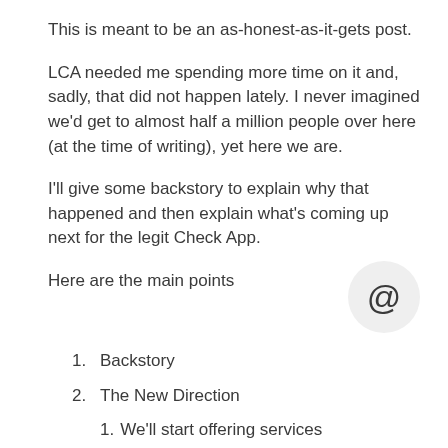This is meant to be an as-honest-as-it-gets post.
LCA needed me spending more time on it and, sadly, that did not happen lately. I never imagined we'd get to almost half a million people over here (at the time of writing), yet here we are.
I'll give some backstory to explain why that happened and then explain what's coming up next for the legit Check App.
Here are the main points
1. Backstory
2. The New Direction
1. We'll start offering services